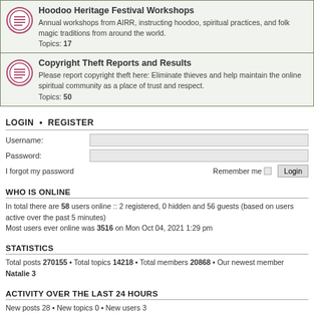Hoodoo Heritage Festival Workshops - Annual workshops from AIRR, instructing hoodoo, spiritual practices, and folk magic traditions from around the world. Topics: 17
Copyright Theft Reports and Results - Please report copyright theft here: Eliminate thieves and help maintain the online spiritual community as a place of trust and respect. Topics: 50
LOGIN • REGISTER
Username: [input field]
Password: [input field]
I forgot my password   Remember me [ ] Login
WHO IS ONLINE
In total there are 58 users online :: 2 registered, 0 hidden and 56 guests (based on users active over the past 5 minutes)
Most users ever online was 3516 on Mon Oct 04, 2021 1:29 pm
STATISTICS
Total posts 270155 • Total topics 14218 • Total members 20868 • Our newest member Natalie 3
ACTIVITY OVER THE LAST 24 HOURS
New posts 28 • New topics 0 • New users 3
In total there were 363 users :: 24 registered, 1 hidden, 7 bots and 331 guests active over